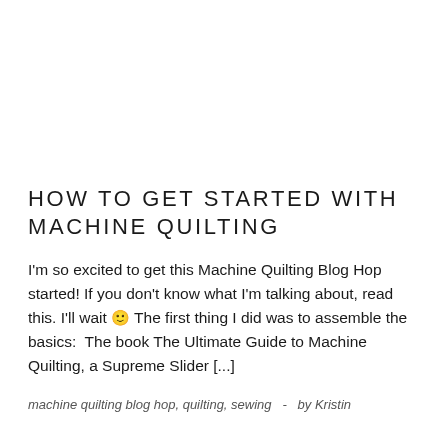HOW TO GET STARTED WITH MACHINE QUILTING
I'm so excited to get this Machine Quilting Blog Hop started! If you don't know what I'm talking about, read this. I'll wait 🙂 The first thing I did was to assemble the basics:  The book The Ultimate Guide to Machine Quilting, a Supreme Slider [...]
machine quilting blog hop, quilting, sewing  -  by Kristin